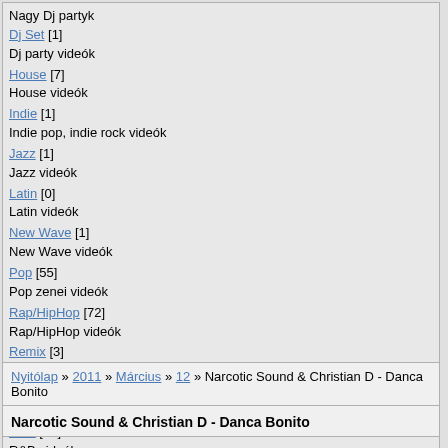Nagy Dj partyk
Dj Set [1]
Dj party videók
House [7]
House videók
Indie [1]
Indie pop, indie rock videók
Jazz [1]
Jazz videók
Latin [0]
Latin videók
New Wave [1]
New Wave videók
Pop [55]
Pop zenei videók
Rap/HipHop [72]
Rap/HipHop videók
Remix [3]
Video mixek, remixek
Rock [17]
Rock videók
R&B [28]
R&B videók
Soul, Blues [0]
Soul, Blues videók
Trance [4]
Trance videók
Tuc Tuc party [19]
Dance, disco, hip-hop bulivideók
Nyitólap » 2011 » Március » 12 » Narcotic Sound & Christian D - Danca Bonito
Narcotic Sound & Christian D - Danca Bonito